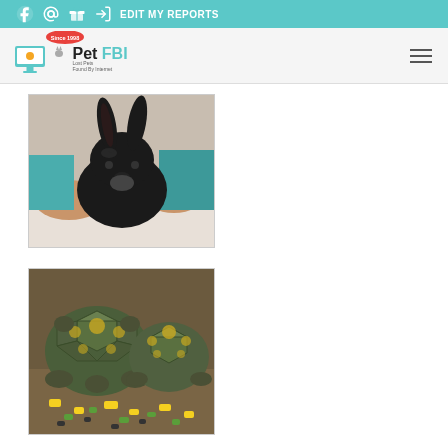EDIT MY REPORTS — Pet FBI navigation bar
[Figure (logo): Pet FBI logo — Lost Pets Found By Internet, Since 1998]
[Figure (photo): A black rabbit being held by a person in teal/green scrubs on a white surface]
[Figure (photo): Two tortoises with yellow-spotted shells eating colorful chopped food on the ground]